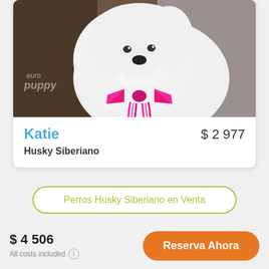[Figure (photo): White puppy (Siberian Husky) with a pink/fuchsia yarn bow tie, watermark 'euro puppy' in lower left of photo]
Katie
$ 2 977
Husky Siberiano
Perros Husky Siberiano en Venta
$ 4 506
All costs included
Reserva Ahora